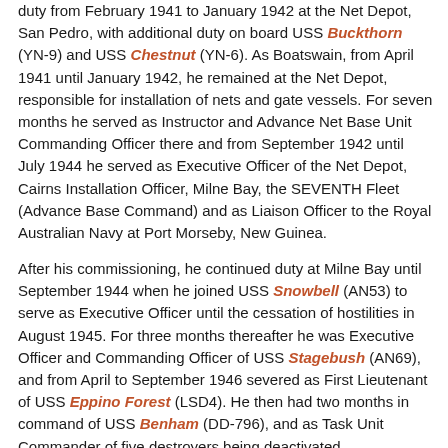duty from February 1941 to January 1942 at the Net Depot, San Pedro, with additional duty on board USS Buckthorn (YN-9) and USS Chestnut (YN-6). As Boatswain, from April 1941 until January 1942, he remained at the Net Depot, responsible for installation of nets and gate vessels. For seven months he served as Instructor and Advance Net Base Unit Commanding Officer there and from September 1942 until July 1944 he served as Executive Officer of the Net Depot, Cairns Installation Officer, Milne Bay, the SEVENTH Fleet (Advance Base Command) and as Liaison Officer to the Royal Australian Navy at Port Morseby, New Guinea.
After his commissioning, he continued duty at Milne Bay until September 1944 when he joined USS Snowbell (AN53) to serve as Executive Officer until the cessation of hostilities in August 1945. For three months thereafter he was Executive Officer and Commanding Officer of USS Stagebush (AN69), and from April to September 1946 severed as First Lieutenant of USS Eppino Forest (LSD4). He then had two months in command of USS Benham (DD-796), and as Task Unit Commander of five destroyers being deactivated.
In November 1946 he reported as Executive Officer of Surface Division 11/26, USNR, at Bakersfield, California, and after five months, served as that Division's Commanding Officer until February 1950. The next two